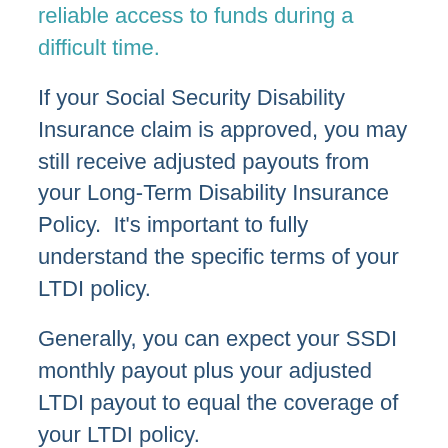reliable access to funds during a difficult time.
If your Social Security Disability Insurance claim is approved, you may still receive adjusted payouts from your Long-Term Disability Insurance Policy.  It's important to fully understand the specific terms of your LTDI policy.
Generally, you can expect your SSDI monthly payout plus your adjusted LTDI payout to equal the coverage of your LTDI policy.
For example, let's imagine that you